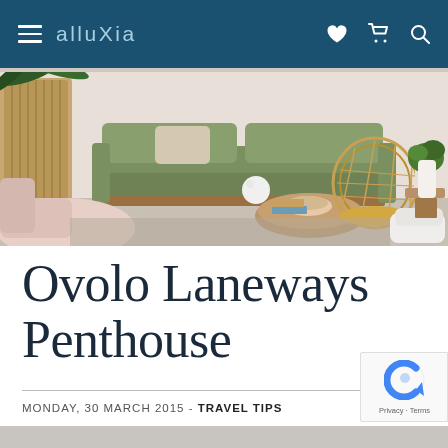alluXia
[Figure (photo): Interior lobby or lounge area with green sofa, wicker chair, pink armchairs, wooden planter with tropical plants, and coffee table with decorative items on a light background]
Ovolo Laneways Penthouse
MONDAY, 30 MARCH 2015 - TRAVEL TIPS